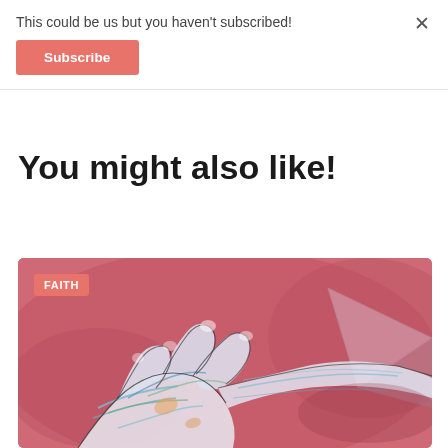This could be us but you haven't subscribed!
Subscribe
×
You might also like!
[Figure (illustration): Colorful abstract painting of hands with swirling blue, green, and white patterns on a pink/rose background, with a translucent triangular paper airplane shape on the right. A red 'FAITH' label badge is overlaid in the top-left corner.]